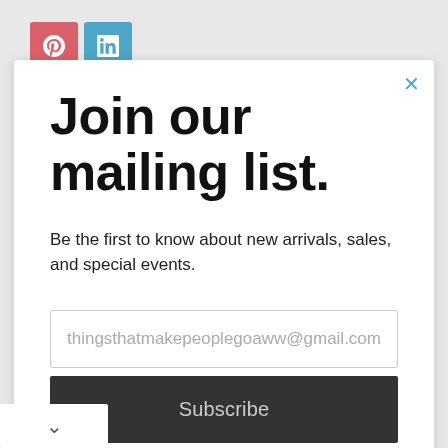[Figure (logo): Pinterest and LinkedIn social share icon buttons in the top-left corner]
Join our mailing list.
Be the first to know about new arrivals, sales, and special events.
thingsthatmakepeoplegoaww@gmail.com
Subscribe